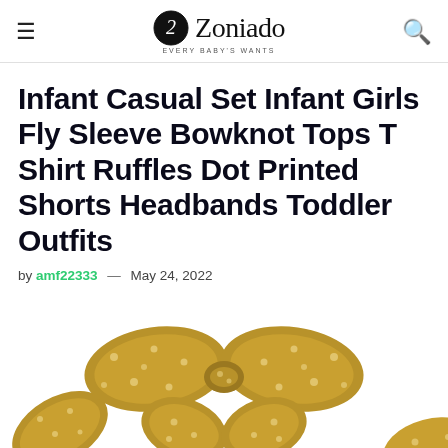Zoniado — Every Baby's Wants
Infant Casual Set Infant Girls Fly Sleeve Bowknot Tops T Shirt Ruffles Dot Printed Shorts Headbands Toddler Outfits
by amf22333 — May 24, 2022
[Figure (photo): Gold polka-dot fabric bow/headband product photo on white background]